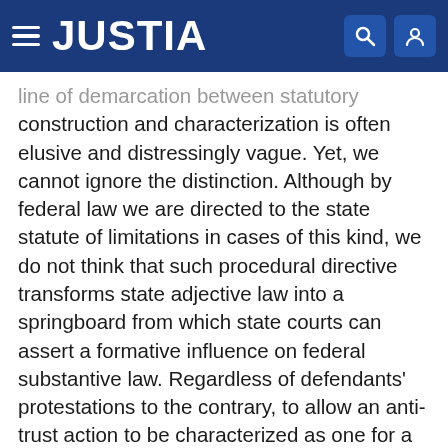JUSTIA
line of demarcation between statutory construction and characterization is often elusive and distressingly vague. Yet, we cannot ignore the distinction. Although by federal law we are directed to the state statute of limitations in cases of this kind, we do not think that such procedural directive transforms state adjective law into a springboard from which state courts can assert a formative influence on federal substantive law. Regardless of defendants' protestations to the contrary, to allow an anti-trust action to be characterized as one for a penalty or forfeiture, depending on state court stare decisis, would involve considerably more than `statutory construction' for a limited procedural purpose."